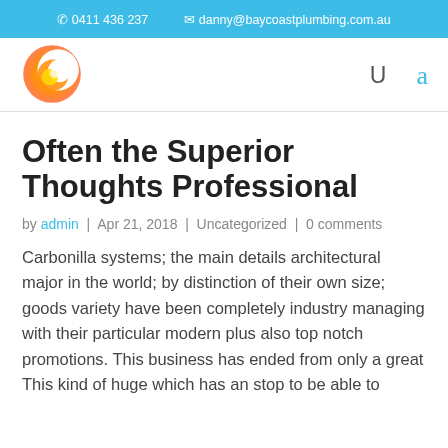📞 0411 436 237   ✉ danny@baycoastplumbing.com.au
[Figure (logo): Bay Coast Plumbing logo: orange and yellow crescent moon / swirl shape on white background]
Often the Superior Thoughts Professional
by admin | Apr 21, 2018 | Uncategorized | 0 comments
Carbonilla systems; the main details architectural major in the world; by distinction of their own size; goods variety have been completely industry managing with their particular modern plus also top notch promotions. This business has ended from only a great This kind of huge which has an stop to be able to